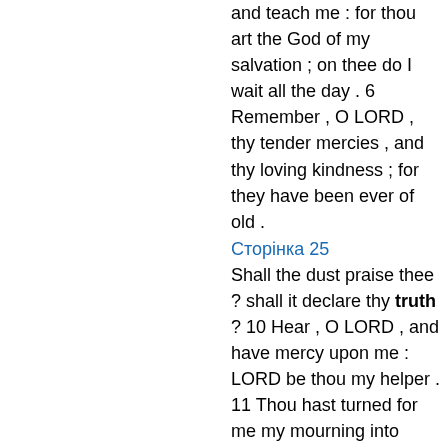and teach me : for thou art the God of my salvation ; on thee do I wait all the day . 6 Remember , O LORD , thy tender mercies , and thy loving kindness ; for they have been ever of old .
Сторінка 25
Shall the dust praise thee ? shall it declare thy truth ? 10 Hear , O LORD , and have mercy upon me : LORD be thou my helper . 11 Thou hast turned for me my mourning into dancing ; thou hast put off my sack - cloth , and girded me with ...
Сторінка 26
5 Into thine hand , I